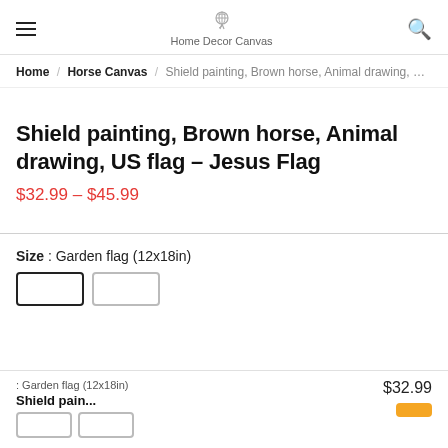Home Decor Canvas
Home / Horse Canvas / Shield painting, Brown horse, Animal drawing, US fla
Shield painting, Brown horse, Animal drawing, US flag – Jesus Flag
$32.99 – $45.99
Size : Garden flag (12x18in)
: Garden flag (12x18in)
$32.99
Shield pain...